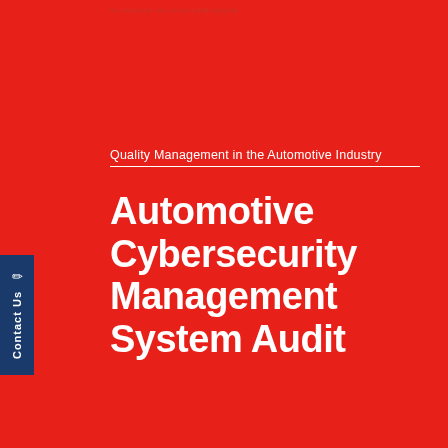Im Verband der Automobilindustrie
Quality Management in the Automotive Industry
Automotive Cybersecurity Management System Audit